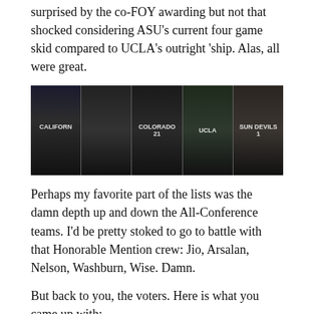surprised by the co-FOY awarding but not that shocked considering ASU's current four game skid compared to UCLA's outright 'ship. Alas, all were great.
[Figure (photo): Strip of five basketball player photos: a Cal player celebrating, a coach, a Colorado player #21, a UCLA player, and an ASU Sun Devils player #1]
Perhaps my favorite part of the lists was the damn depth up and down the All-Conference teams. I'd be pretty stoked to go to battle with that Honorable Mention crew: Jio, Arsalan, Nelson, Washburn, Wise. Damn.
But back to you, the voters. Here is what you came up with:
POY: Dinwiddie (174 votes)
COY: The Field (11 votes)
FOY: Scott (15 votes)
dPOY: Roberson (38 votes)